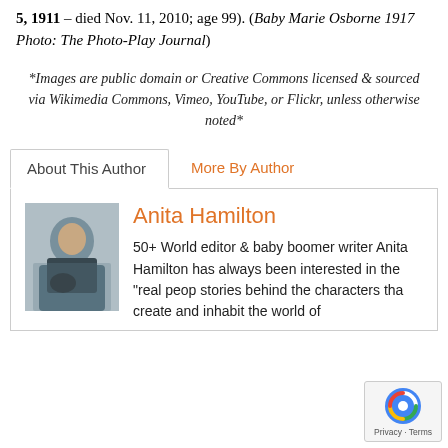5, 1911 – died Nov. 11, 2010; age 99). (Baby Marie Osborne 1917 Photo: The Photo-Play Journal)
*Images are public domain or Creative Commons licensed & sourced via Wikimedia Commons, Vimeo, YouTube, or Flickr, unless otherwise noted*
About This Author | More By Author
Anita Hamilton
50+ World editor & baby boomer writer Anita Hamilton has always been interested in the "real people" stories behind the characters that create and inhabit the world of